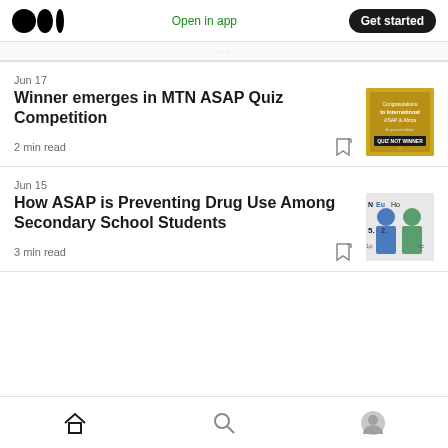Open in app | Get started
Jun 17
Winner emerges in MTN ASAP Quiz Competition
2 min read
[Figure (photo): Yellow/gold poster thumbnail for MTN ASAP Quiz Competition article]
Jun 15
How ASAP is Preventing Drug Use Among Secondary School Students
3 min read
[Figure (photo): Photo thumbnail showing two people in blue clothing]
Home | Search | Profile